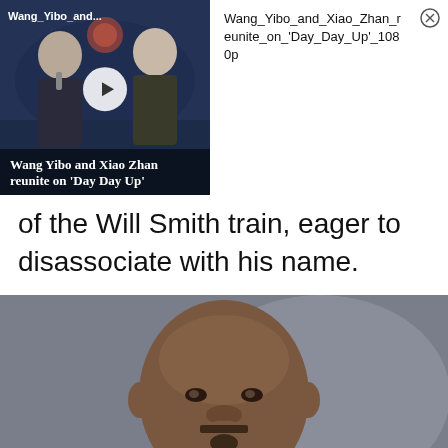[Figure (screenshot): Video thumbnail showing Wang Yibo and Xiao Zhan on 'Day Day Up' with a play button overlay and text overlay at bottom]
Wang_Yibo_and_Xiao_Zhan_reunite_on_'Day_Day_Up'_1080p
of the Will Smith train, eager to disassociate with his name.
[Figure (photo): Close-up photo of Will Smith against a gray background]